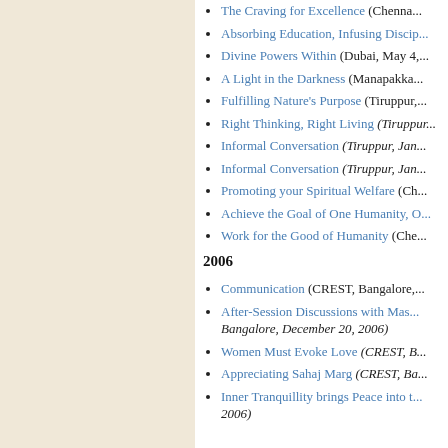The Craving for Excellence (Chenna...
Absorbing Education, Infusing Discip...
Divine Powers Within (Dubai, May 4,...
A Light in the Darkness (Manapakka...
Fulfilling Nature's Purpose (Tiruppur,...
Right Thinking, Right Living (Tiruppur...
Informal Conversation (Tiruppur, Jan...
Informal Conversation (Tiruppur, Jan...
Promoting your Spiritual Welfare (Ch...
Achieve the Goal of One Humanity, O...
Work for the Good of Humanity (Che...
2006
Communication (CREST, Bangalore,...
After-Session Discussions with Mas... Bangalore, December 20, 2006)
Women Must Evoke Love (CREST, B...
Appreciating Sahaj Marg (CREST, Ba...
Inner Tranquillity brings Peace into t... 2006)